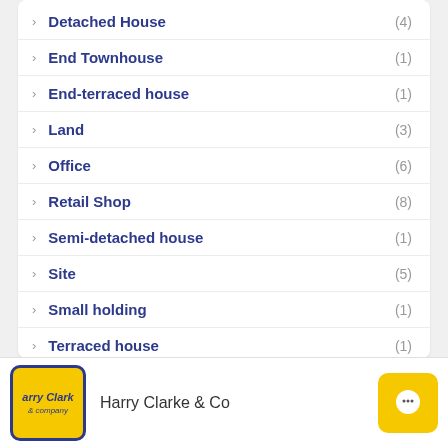Detached House (4)
End Townhouse (1)
End-terraced house (1)
Land (3)
Office (6)
Retail Shop (8)
Semi-detached house (1)
Site (5)
Small holding (1)
Terraced house (1)
Harry Clarke & Co